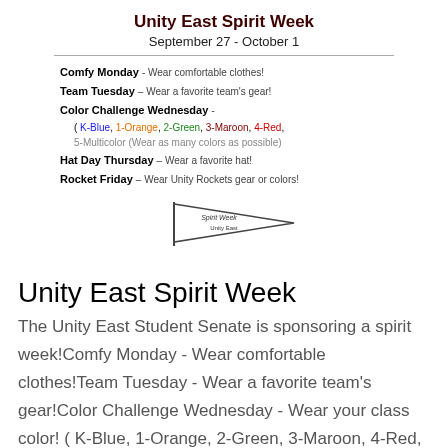Unity East Spirit Week
September 27 - October 1
Comfy Monday – Wear comfortable clothes!
Team Tuesday – Wear a favorite team's gear!
Color Challenge Wednesday – ( K-Blue, 1-Orange, 2-Green, 3-Maroon, 4-Red, 5-Multicolor (Wear as many colors as possible)
Hat Day Thursday – Wear a favorite hat!
Rocket Friday – Wear Unity Rockets gear or colors!
[Figure (illustration): A pennant/flag logo for Unity East Spirit Week]
Unity East Spirit Week
The Unity East Student Senate is sponsoring a spirit week!Comfy Monday - Wear comfortable clothes!Team Tuesday - Wear a favorite team's gear!Color Challenge Wednesday - Wear your class color! ( K-Blue, 1-Orange, 2-Green, 3-Maroon, 4-Red, 5-Multicolor (Wear as many colors as possible)Hat Day Thursday - Wear a favorite hat!Rocket Friday - Wear Unity Rockets gear or